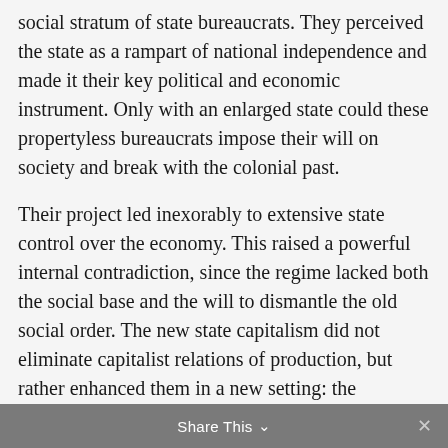social stratum of state bureaucrats. They perceived the state as a rampart of national independence and made it their key political and economic instrument. Only with an enlarged state could these propertyless bureaucrats impose their will on society and break with the colonial past.
Their project led inexorably to extensive state control over the economy. This raised a powerful internal contradiction, since the regime lacked both the social base and the will to dismantle the old social order. The new state capitalism did not eliminate capitalist relations of production, but rather enhanced them in a new setting: the nationalized industry, the
Share This ∨  ✕